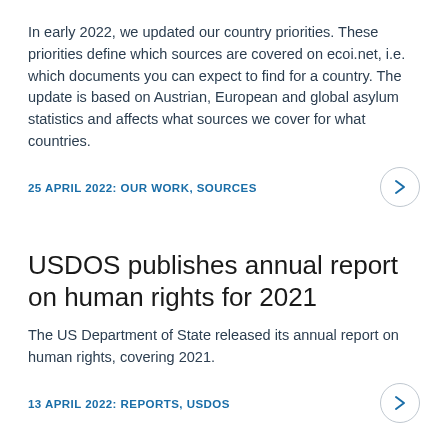In early 2022, we updated our country priorities. These priorities define which sources are covered on ecoi.net, i.e. which documents you can expect to find for a country. The update is based on Austrian, European and global asylum statistics and affects what sources we cover for what countries.
25 APRIL 2022: OUR WORK, SOURCES
USDOS publishes annual report on human rights for 2021
The US Department of State released its annual report on human rights, covering 2021.
13 APRIL 2022: REPORTS, USDOS